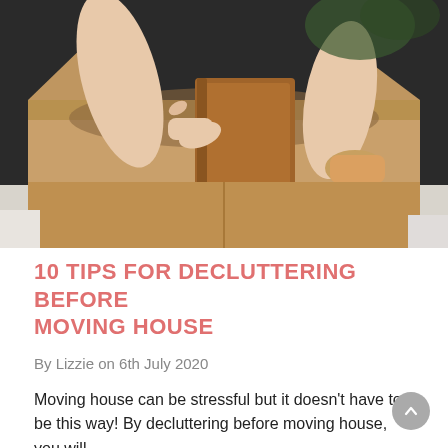[Figure (photo): A person placing a brown leather-bound book or wallet into an open cardboard moving box. The background is dark. The photo shows hands and forearms packing items.]
10 TIPS FOR DECLUTTERING BEFORE MOVING HOUSE
By Lizzie on 6th July 2020
Moving house can be stressful but it doesn't have to be this way! By decluttering before moving house, you will